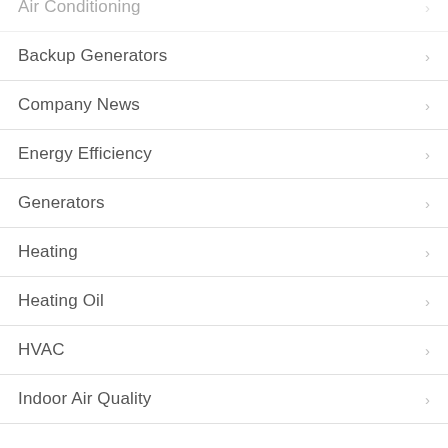Air Conditioning
Backup Generators
Company News
Energy Efficiency
Generators
Heating
Heating Oil
HVAC
Indoor Air Quality